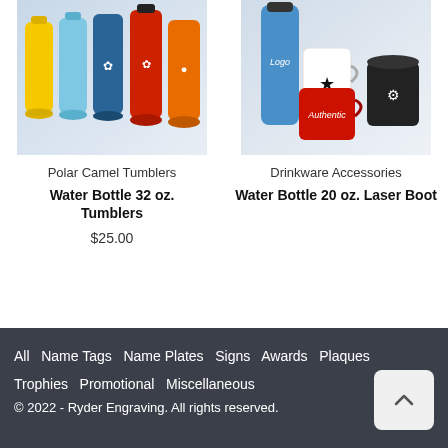[Figure (photo): Photo of colorful Polar Camel water bottles (yellow, light blue, dark blue with design, red with design, orange) with gradient background]
Polar Camel Tumblers
Water Bottle 32 oz. Tumblers
$25.00
[Figure (photo): Photo of drinkware accessories: blue tumbler, white mug with stars, red mug with script logo, black cylindrical item with gear/wrench logo]
Drinkware Accessories
Water Bottle 20 oz. Laser Boot
All  Name Tags  Name Plates  Signs  Awards  Plaques  Trophies  Promotional  Miscellaneous
© 2022 - Ryder Engraving. All rights reserved.